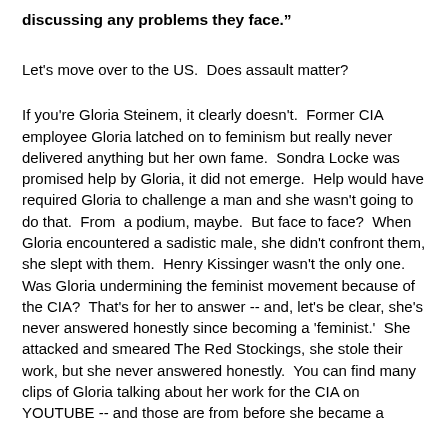discussing any problems they face.”
Let's move over to the US.  Does assault matter?
If you're Gloria Steinem, it clearly doesn't.  Former CIA employee Gloria latched on to feminism but really never delivered anything but her own fame.  Sondra Locke was promised help by Gloria, it did not emerge.  Help would have required Gloria to challenge a man and she wasn't going to do that.  From  a podium, maybe.  But face to face?  When Gloria encountered a sadistic male, she didn't confront them, she slept with them.  Henry Kissinger wasn't the only one.  Was Gloria undermining the feminist movement because of the CIA?  That's for her to answer -- and, let's be clear, she's never answered honestly since becoming a 'feminist.'  She attacked and smeared The Red Stockings, she stole their work, but she never answered honestly.  You can find many clips of Gloria talking about her work for the CIA on YOUTUBE -- and those are from before she became a